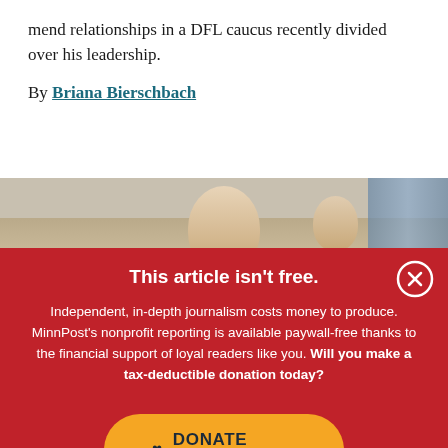mend relationships in a DFL caucus recently divided over his leadership.
By Briana Bierschbach
[Figure (photo): Photo of a man in a suit, partially visible, with another person in background, indoors.]
This article isn't free.
Independent, in-depth journalism costs money to produce. MinnPost's nonprofit reporting is available paywall-free thanks to the financial support of loyal readers like you. Will you make a tax-deductible donation today?
DONATE NOW